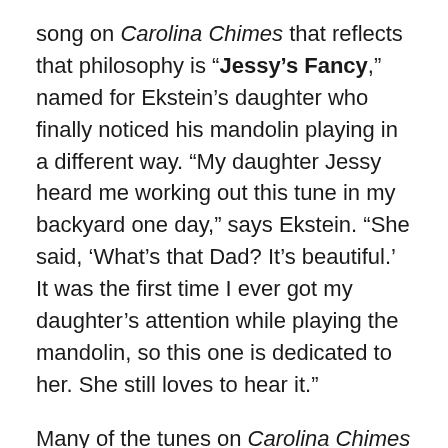song on Carolina Chimes that reflects that philosophy is “Jessy’s Fancy,” named for Ekstein’s daughter who finally noticed his mandolin playing in a different way. “My daughter Jessy heard me working out this tune in my backyard one day,” says Ekstein. “She said, ‘What’s that Dad? It’s beautiful.’ It was the first time I ever got my daughter’s attention while playing the mandolin, so this one is dedicated to her. She still loves to hear it.”
Many of the tunes on Carolina Chimes reflect Ekstein’s travels in this world, from his early years living in California and exploring the American West, to settling down in the western North Carolina mountain town of Asheville.
“Hoot Owl Hop” was written from his days of living in California when the warm summer nights brought hoot